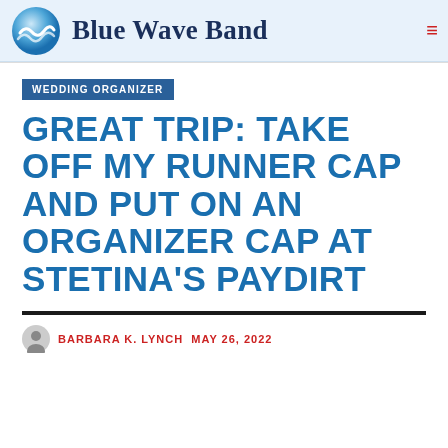Blue Wave Band
WEDDING ORGANIZER
GREAT TRIP: TAKE OFF MY RUNNER CAP AND PUT ON AN ORGANIZER CAP AT STETINA'S PAYDIRT
BARBARA K. LYNCH   MAY 26, 2022